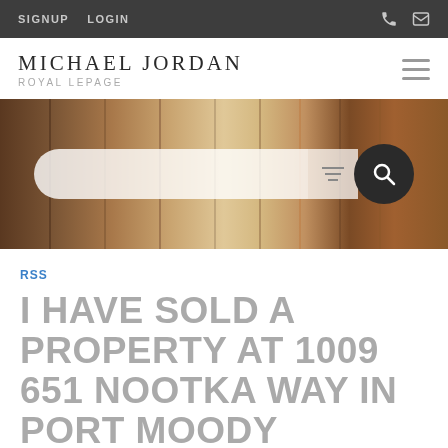SIGNUP   LOGIN
MICHAEL JORDAN
ROYAL LEPAGE
[Figure (photo): Hero background image showing wooden door panels/shutters in brown tones, with a search bar overlay containing a filter icon and a dark circular search button with magnifying glass icon]
RSS
I HAVE SOLD A PROPERTY AT 1009 651 NOOTKA WAY IN PORT MOODY